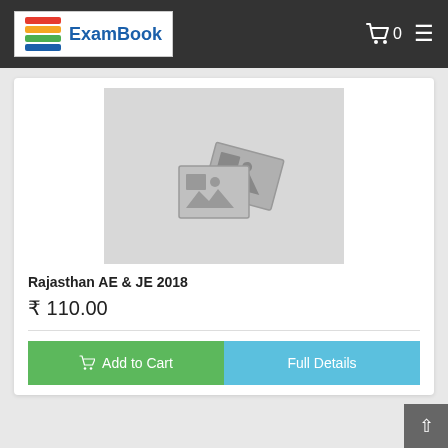ExamBook
[Figure (photo): Product image placeholder showing two overlapping image icons on a grey background]
Rajasthan AE & JE 2018
₹ 110.00
Add to Cart | Full Details